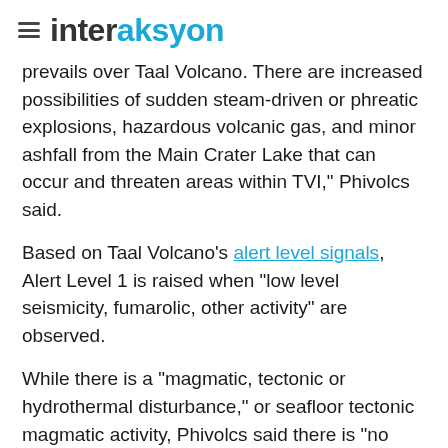interaksyon
prevails over Taal Volcano. There are increased possibilities of sudden steam-driven or phreatic explosions, hazardous volcanic gas, and minor ashfall from the Main Crater Lake that can occur and threaten areas within TVI," Phivolcs said.
Based on Taal Volcano's alert level signals, Alert Level 1 is raised when "low level seismicity, fumarolic, other activity" are observed.
While there is a "magmatic, tectonic or hydrothermal disturbance," or seafloor tectonic magmatic activity, Phivolcs said there is "no eruption imminent."
"DOST-PHIVOLCS strongly recommends that into TVI, Taal's Permanent Danger Zone or PDZ,